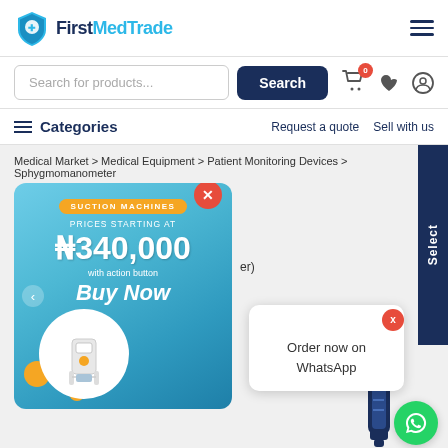[Figure (logo): FirstMedTrade logo with shield icon]
Search for products...
Search
Categories
Request a quote  Sell with us
Medical Market > Medical Equipment > Patient Monitoring Devices > Sphygmomanometer
[Figure (screenshot): Advertisement popup for Suction Machines - PRICES STARTING AT N340,000 with action button Buy Now. Blue background with machine image.]
Order now on WhatsApp